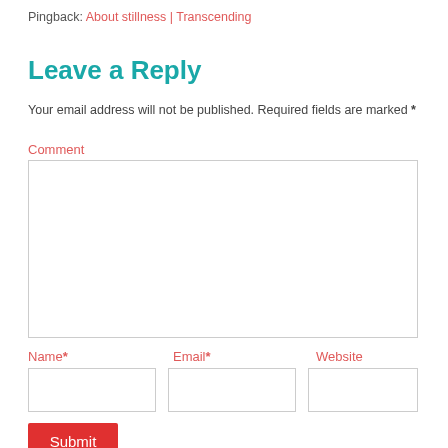Pingback: About stillness | Transcending
Leave a Reply
Your email address will not be published. Required fields are marked *
Comment
Name*
Email*
Website
Submit